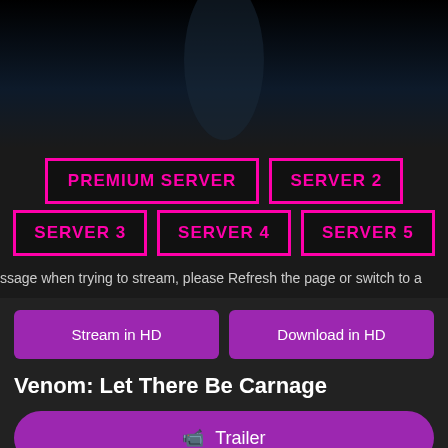[Figure (screenshot): Dark video player area with black background showing a dim scene]
PREMIUM SERVER
SERVER 2
SERVER 3
SERVER 4
SERVER 5
ssage when trying to stream, please Refresh the page or switch to a
Stream in HD
Download in HD
Venom: Let There Be Carnage
🎥 Trailer
Sequel to the box-office hit film "Venom."